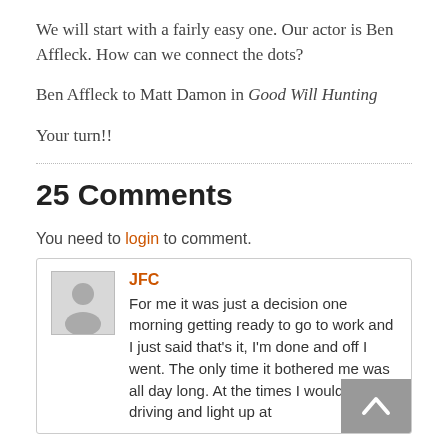We will start with a fairly easy one. Our actor is Ben Affleck. How can we connect the dots?
Ben Affleck to Matt Damon in Good Will Hunting
Your turn!!
25 Comments
You need to login to comment.
JFC
For me it was just a decision one morning getting ready to go to work and I just said that's it, I'm done and off I went. The only time it bothered me was all day long. At the times I would be driving and light up at